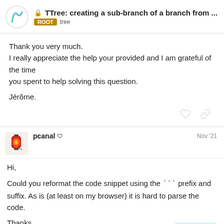TTree: creating a sub-branch of a branch from ... ROOT tree
Thank you very much.
I really appreciate the help your provided and I am grateful of the time
you spent to help solving this question.

Jérôme.
pcanal  Nov '21
Hi,

Could you reformat the code snippet using the ``` prefix and suffix. As is (at least on my browser) it is hard to parse the code.

Thanks,
Philippe.
16 / 20